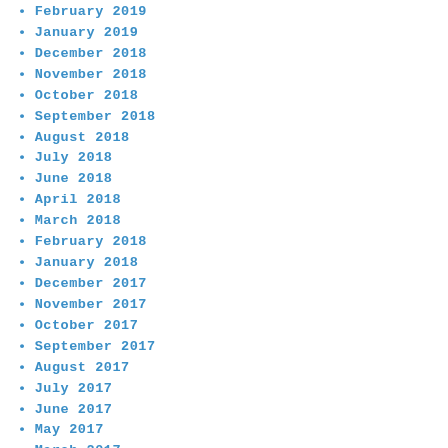February 2019
January 2019
December 2018
November 2018
October 2018
September 2018
August 2018
July 2018
June 2018
April 2018
March 2018
February 2018
January 2018
December 2017
November 2017
October 2017
September 2017
August 2017
July 2017
June 2017
May 2017
March 2017
February 2017
January 2017
December 2016
November 2016